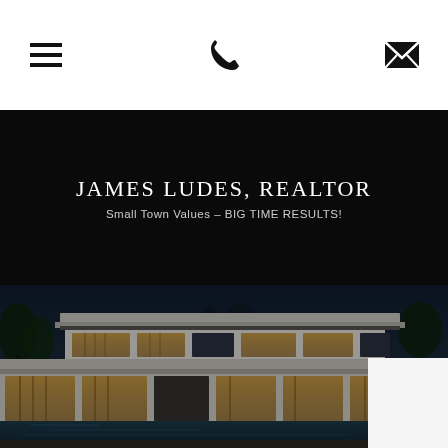[hamburger menu icon] [phone icon] [email icon]
JAMES LUDES, REALTOR
Small Town Values – BIG TIME RESULTS!
[Figure (photo): Night-time exterior photo of a modern luxury house with large glass windows, flat roof, illuminated pool area, and surrounding trees under a dark blue sky.]